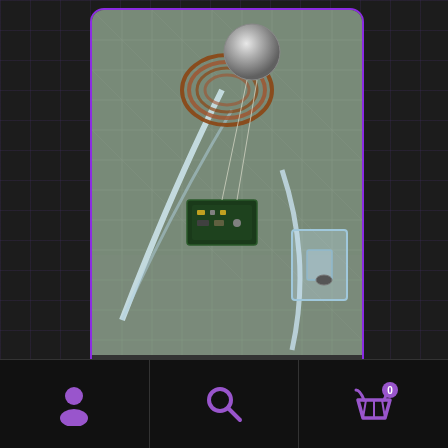[Figure (photo): Product photo of Maxwell's Cradle kit showing electronic components, acrylic frame pieces, copper coil, and metallic ball on a cutting mat surface]
Maxwell's Cradle Kit
£31.20
Add to basket
[Figure (infographic): Bottom navigation bar with three icons: user/person icon, search/magnifying glass icon, and shopping basket icon with '0' badge]